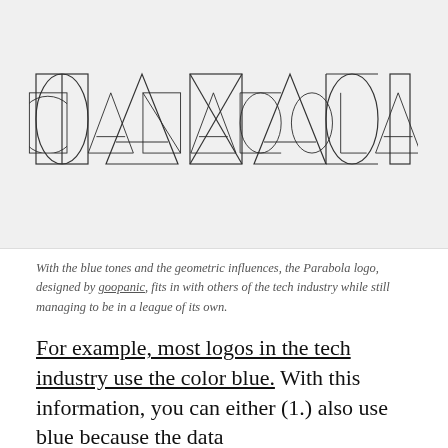[Figure (logo): Parabola logo rendered in a geometric outline font style on a light gray background. Letters are formed from geometric shapes: circles, triangles, and rectangles.]
With the blue tones and the geometric influences, the Parabola logo, designed by goopanic, fits in with others of the tech industry while still managing to be in a league of its own.
For example, most logos in the tech industry use the color blue. With this information, you can either (1.) also use blue because the data